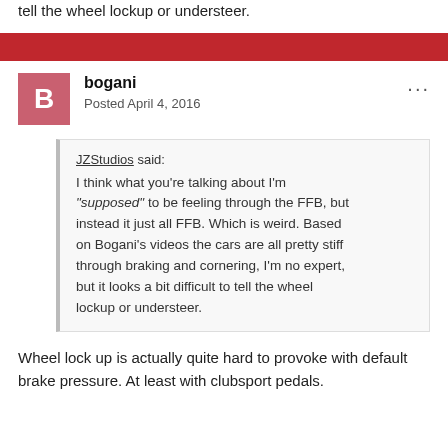tell the wheel lockup or understeer.
bogani
Posted April 4, 2016
JZStudios said:
I think what you're talking about I'm "supposed" to be feeling through the FFB, but instead it just all FFB. Which is weird. Based on Bogani's videos the cars are all pretty stiff through braking and cornering, I'm no expert, but it looks a bit difficult to tell the wheel lockup or understeer.
Wheel lock up is actually quite hard to provoke with default brake pressure. At least with clubsport pedals.